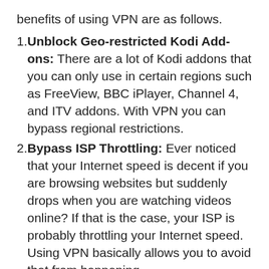benefits of using VPN are as follows.
Unblock Geo-restricted Kodi Add-ons: There are a lot of Kodi addons that you can only use in certain regions such as FreeView, BBC iPlayer, Channel 4, and ITV addons. With VPN you can bypass regional restrictions.
Bypass ISP Throttling: Ever noticed that your Internet speed is decent if you are browsing websites but suddenly drops when you are watching videos online? If that is the case, your ISP is probably throttling your Internet speed. Using VPN basically allows you to avoid that from happening.
Ultimate Privacy: Your ISP will not be able to see what sites you visit, files you download, or